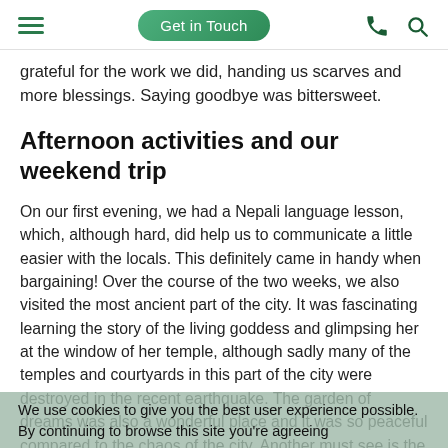Get in Touch
grateful for the work we did, handing us scarves and more blessings. Saying goodbye was bittersweet.
Afternoon activities and our weekend trip
On our first evening, we had a Nepali language lesson, which, although hard, did help us to communicate a little easier with the locals. This definitely came in handy when bargaining! Over the course of the two weeks, we also visited the most ancient part of the city. It was fascinating learning the story of the living goddess and glimpsing her at the window of her temple, although sadly many of the temples and courtyards in this part of the city were destroyed in the recent earthquake. The garden of dreams was also a wonderful place and it was so peaceful compared to the chaos of the city. Another must see is the monkey temple, which has beautiful views and very friendly monkeys (the baby ones were so cute!)
We use cookies to give you the best user experience possible. By continuing to browse this site you're agreeing